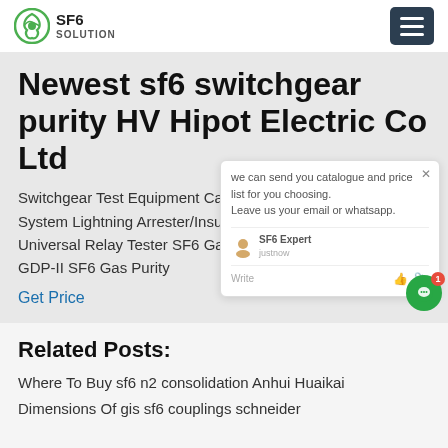SF6 SOLUTION
Newest sf6 switchgear purity HV Hipot Electric Co Ltd
Switchgear Test Equipment Cable P... System Lightning Arrester/Insulator ... Universal Relay Tester SF6 Gas ... GDP-II SF6 Gas Purity
Get Price
[Figure (screenshot): Chat popup overlay showing: 'we can send you catalogue and price list for you choosing. Leave us your email or whatsapp.' with SF6 Expert avatar, 'justnow' timestamp, and Write input area]
Related Posts:
Where To Buy sf6 n2 consolidation Anhui Huaikai
Dimensions Of gis sf6 couplings schneider